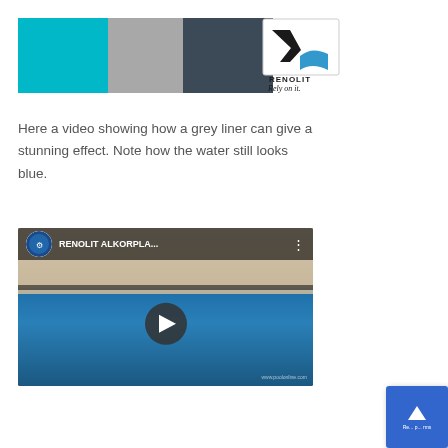[Figure (illustration): Three color swatches side by side: cyan/turquoise, medium gray, and dark slate blue-gray]
[Figure (logo): Renolit logo with black checkmark-like symbol and blue wave, text RENOLIT and italic tagline Rely on it.]
Here a video showing how a grey liner can give a stunning effect. Note how the water still looks blue.
[Figure (screenshot): YouTube video thumbnail showing RENOLIT ALKORPLA... with a pool scene, circular channel logo, play button overlay]
[Figure (illustration): Small scroll-to-top button widget in blue with an upward arrow, partially visible at bottom right corner]